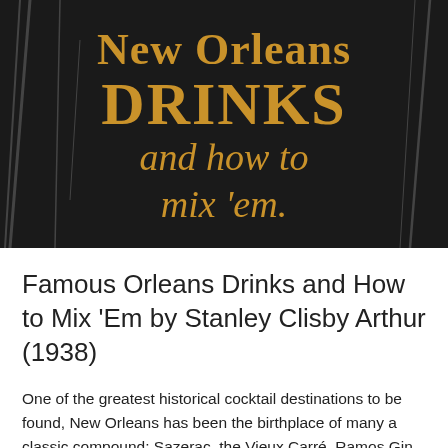[Figure (photo): Book cover with dark/black background and gold/amber text reading 'New Orleans DRINKS and how to mix 'em.' in a vintage typographic style]
Famous Orleans Drinks and How to Mix 'Em by Stanley Clisby Arthur (1938)
One of the greatest historical cocktail destinations to be found, New Orleans has been the birthplace of many a classic compound: Sazerac, the Vieux Carré, Ramos Gin Fizz, Grasshopper, the list is endless. Written by